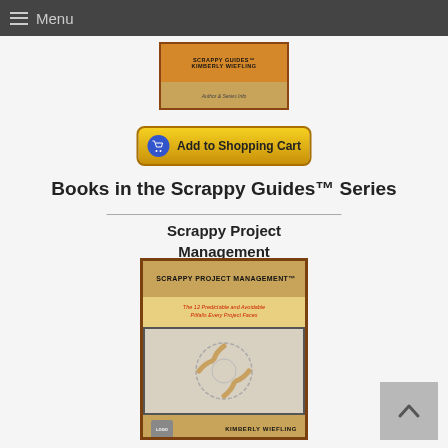Menu
[Figure (illustration): Partial view of a Scrappy Guides book cover — brown/tan themed with title stamp and author name Kimberly Wiefling]
[Figure (illustration): Add to Shopping Cart button — yellow/gold gradient button with blue cart icon]
Books in the Scrappy Guides™ Series
Scrappy Project Management
[Figure (illustration): Book cover for Scrappy Project Management — tan/brown cover with title 'SCRAPPY PROJECT MANAGEMENT™', subtitle 'The 12 Predictable and Avoidable Pitfalls Every Project Faces', image of hands forming a circle, author name Kimberly Wiefling]